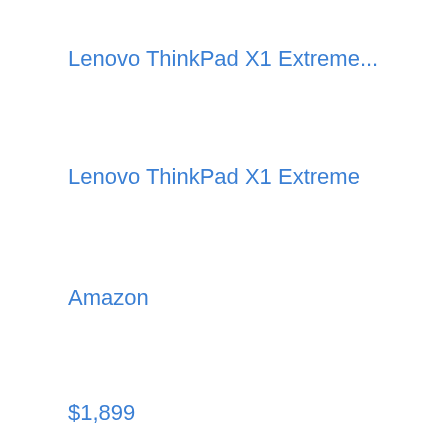Lenovo ThinkPad X1 Extreme...
Lenovo ThinkPad X1 Extreme
Amazon
$1,899
View
See all prices
Low Stock
MSI WS66 10TMT-207 Mobile...